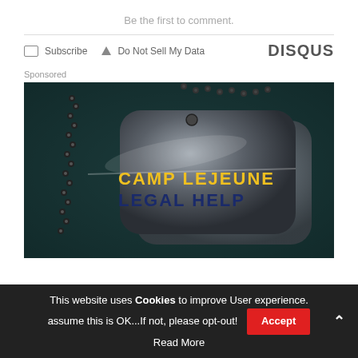Be the first to comment.
Subscribe  Do Not Sell My Data  DISQUS
Sponsored
[Figure (photo): Military dog tags on dark leather background with text 'CAMP LEJEUNE LEGAL HELP']
This website uses Cookies to improve User experience. assume this is OK...If not, please opt-out! Accept
Read More